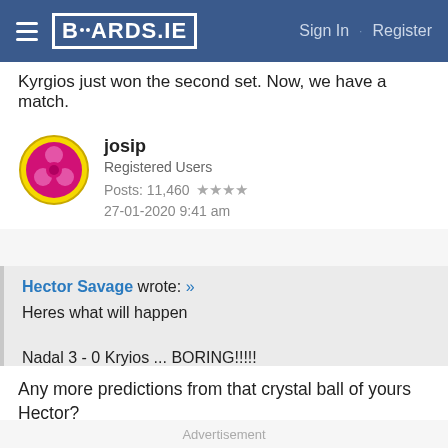BOARDS.IE  Sign In  ·  Register
Kyrgios just won the second set. Now, we have a match.
josip
Registered Users
Posts: 11,460 ★★★★
27-01-2020 9:41 am
Hector Savage wrote: »
Heres what will happen

Nadal 3 - 0 Kryios ... BORING!!!!!
Any more predictions from that crystal ball of yours Hector?
Advertisement